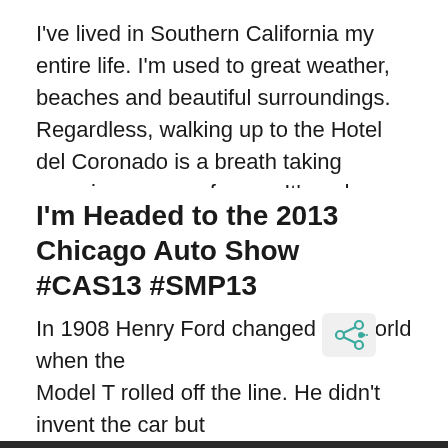I've lived in Southern California my entire life. I'm used to great weather, beaches and beautiful surroundings. Regardless, walking up to the Hotel del Coronado is a breath taking experience, even for me. It's red turrets against my beloved California … Read more
I'm Headed to the 2013 Chicago Auto Show #CAS13 #SMP13
In 1908 Henry Ford changed the world when the Model T rolled off the line. He didn't invent the car but he produced an automobile almost anyone could afford. The Model T had only 2 forward gears, a 20